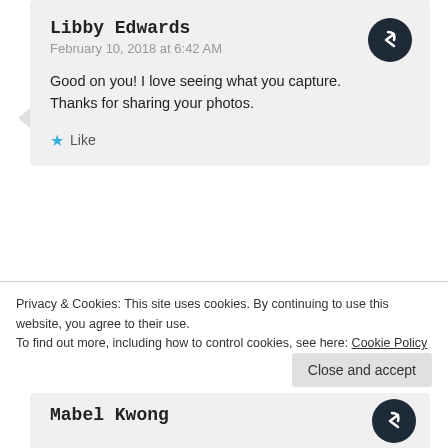Libby Edwards
February 10, 2018 at 6:42 AM

Good on you! I love seeing what you capture.
Thanks for sharing your photos.

★ Like
BerlinChick
February 10, 2018 at 6:56 AM
Privacy & Cookies: This site uses cookies. By continuing to use this website, you agree to their use.
To find out more, including how to control cookies, see here: Cookie Policy
Close and accept
Mabel Kwong